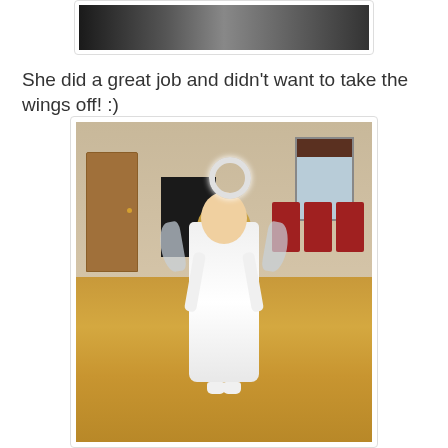[Figure (photo): Top portion of a photo showing dark background, partially cropped]
She did a great job and didn't want to take the wings off! :)
[Figure (photo): A young girl dressed in an angel costume with white robe, silver tinsel halo, and sheer wings, standing and smiling in what appears to be a church hall with wooden floors, a wooden door on the left, a window on the right, red chairs, and a dark piano in the background.]